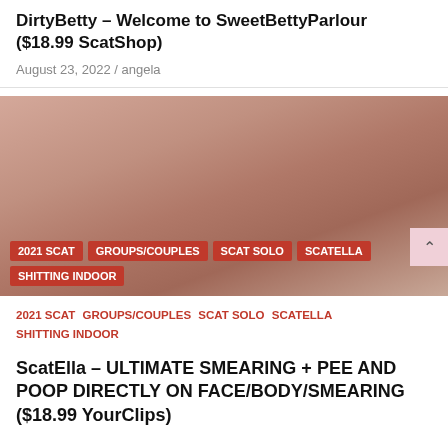DirtyBetty – Welcome to SweetBettyParlour ($18.99 ScatShop)
August 23, 2022 / angela
[Figure (photo): Photo with red category tag overlays at bottom: 2021 SCAT, GROUPS/COUPLES, SCAT SOLO, SCATELLA, SHITTING INDOOR]
2021 SCAT  GROUPS/COUPLES  SCAT SOLO  SCATELLA  SHITTING INDOOR
ScatElla – ULTIMATE SMEARING + PEE AND POOP DIRECTLY ON FACE/BODY/SMEARING ($18.99 YourClips)